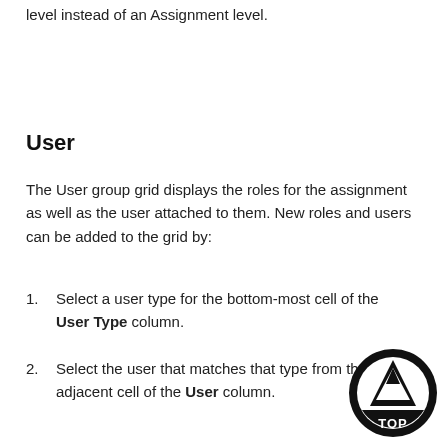level instead of an Assignment level.
User
The User group grid displays the roles for the assignment as well as the user attached to them. New roles and users can be added to the grid by:
Select a user type for the bottom-most cell of the User Type column.
Select the user that matches that type from the adjacent cell of the User column.
[Figure (logo): Circular logo with mountain/shield design and text 'TOP' at the bottom]